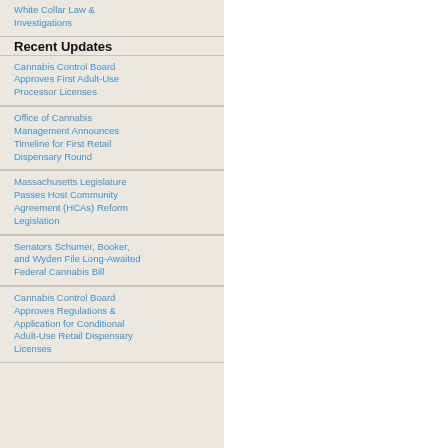White Collar Law & Investigations
Recent Updates
Cannabis Control Board Approves First Adult-Use Processor Licenses
Office of Cannabis Management Announces Timeline for First Retail Dispensary Round
Massachusetts Legislature Passes Host Community Agreement (HCAs) Reform Legislation
Senators Schumer, Booker, and Wyden File Long-Awaited Federal Cannabis Bill
Cannabis Control Board Approves Regulations & Application for Conditional Adult-Use Retail Dispensary Licenses